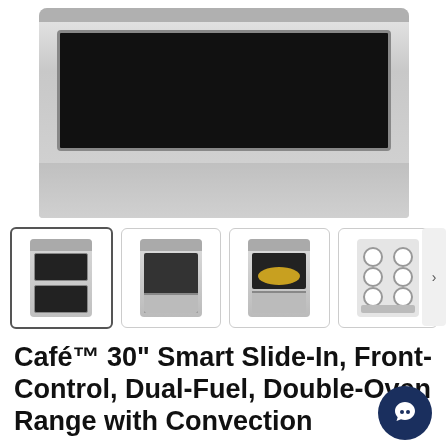[Figure (photo): Main large product image of Café double oven range, stainless steel, showing front view with large black oven window and control panel at top]
[Figure (photo): Four product thumbnail images in a row: (1) front view of double oven range selected/active, (2) open oven cavity view, (3) oven with food inside, (4) top-down view of gas cooktop burners]
Café™ 30" Smart Slide-In, Front-Control, Dual-Fuel, Double-Oven Range with Convection